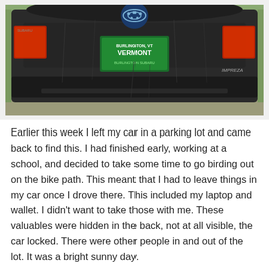[Figure (photo): Photograph showing the rear end of a dark/black Subaru Impreza car with a Vermont license plate, wet and dirty, taken in a parking lot. The green Vermont license plate reads 'Burlington Subaru' dealer frame. The car appears to have water streaks or damage visible.]
Earlier this week I left my car in a parking lot and came back to find this. I had finished early, working at a school, and decided to take some time to go birding out on the bike path. This meant that I had to leave things in my car once I drove there. This included my laptop and wallet. I didn't want to take those with me. These valuables were hidden in the back, not at all visible, the car locked. There were other people in and out of the lot. It was a bright sunny day.